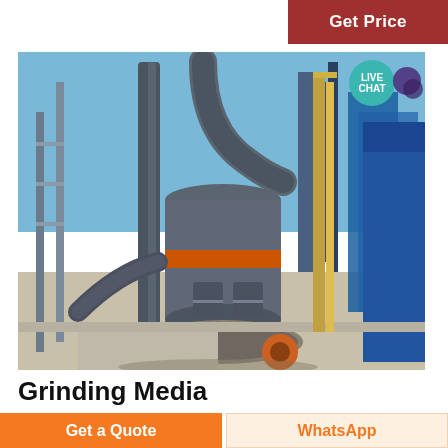Get Price
[Figure (photo): Industrial grinding mill / grinding media equipment in an outdoor industrial setting with blue sky, large cylindrical mill, blue structures, and piping.]
Grinding Media
Get a Quote
WhatsApp